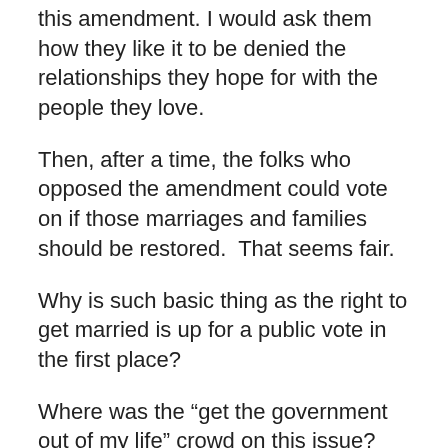this amendment. I would ask them how they like it to be denied the relationships they hope for with the people they love.
Then, after a time, the folks who opposed the amendment could vote on if those marriages and families should be restored.  That seems fair.
Why is such basic thing as the right to get married is up for a public vote in the first place?
Where was the “get the government out of my life” crowd on this issue?
Gay marriage is going to be the law of the land sooner or later in this nation.
However, until that time it seems that the rights of gay people will be up for approval by a public that in so many